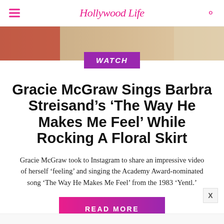Hollywood Life
[Figure (photo): Hero image strip showing partial photos, with a purple WATCH badge overlay]
Gracie McGraw Sings Barbra Streisand’s ‘The Way He Makes Me Feel’ While Rocking A Floral Skirt
Gracie McGraw took to Instagram to share an impressive video of herself ‘feeling’ and singing the Academy Award-nominated song ‘The Way He Makes Me Feel’ from the 1983 ‘Yentl.’
READ MORE